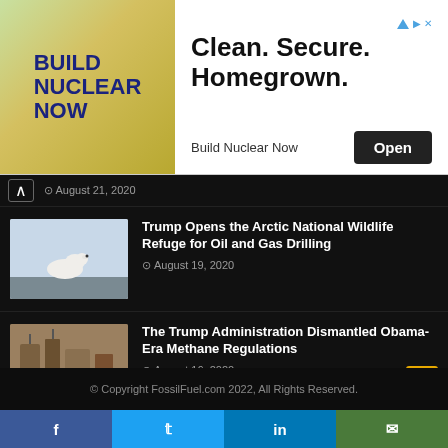[Figure (screenshot): Advertisement banner for 'Build Nuclear Now' with text 'Clean. Secure. Homegrown.' and an Open button]
August 21, 2020
[Figure (photo): Polar bear standing on ice/snow landscape]
Trump Opens the Arctic National Wildlife Refuge for Oil and Gas Drilling
August 19, 2020
[Figure (photo): Aerial view of oil and gas industrial facility]
The Trump Administration Dismantled Obama-Era Methane Regulations
August 16, 2020
© Copyright FossilFuel.com 2022, All Rights Reserved.